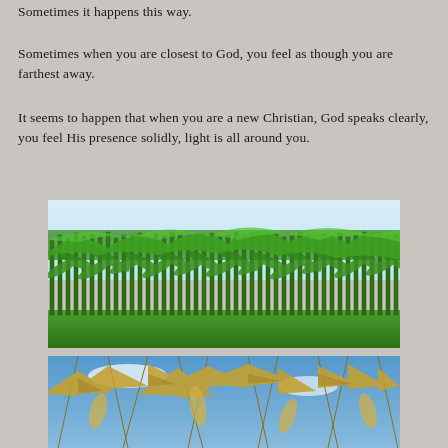Sometimes it happens this way.
Sometimes when you are closest to God, you feel as though you are farthest away.
It seems to happen that when you are a new Christian, God speaks clearly, you feel His presence solidly, light is all around you.
[Figure (photo): A lush green corn field in full growth under a light blue sky, viewed from ground level showing tall green corn stalks stretching across the frame.]
[Figure (photo): Close-up view of dried, yellowed corn stalks against a blue sky with scattered clouds, showing late-season or harvested corn.]